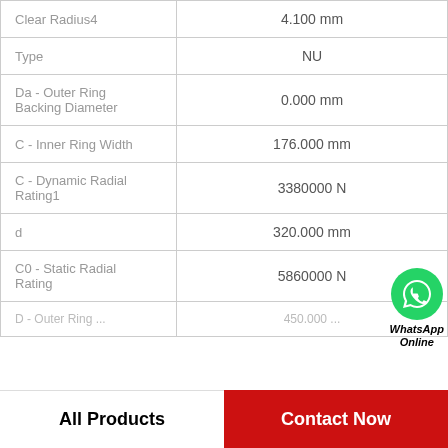| Property | Value |
| --- | --- |
| Clear Radius4 | 4.100 mm |
| Type | NU |
| Da - Outer Ring Backing Diameter | 0.000 mm |
| C - Inner Ring Width | 176.000 mm |
| C - Dynamic Radial Rating1 | 3380000 N |
| d | 320.000 mm |
| C0 - Static Radial Rating | 5860000 N |
| ... | 450.000 ... |
[Figure (logo): WhatsApp Online contact bubble with green phone icon]
All Products    Contact Now